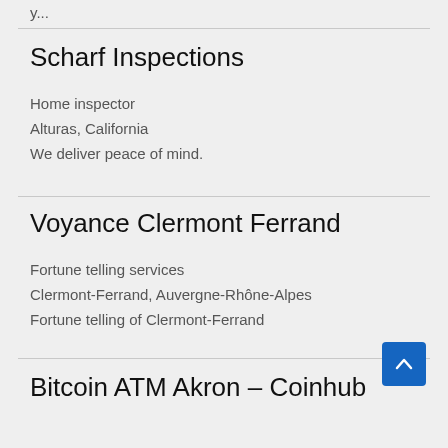y...
Scharf Inspections
Home inspector
Alturas, California
We deliver peace of mind.
Voyance Clermont Ferrand
Fortune telling services
Clermont-Ferrand, Auvergne-Rhône-Alpes
Fortune telling of Clermont-Ferrand
Bitcoin ATM Akron – Coinhub